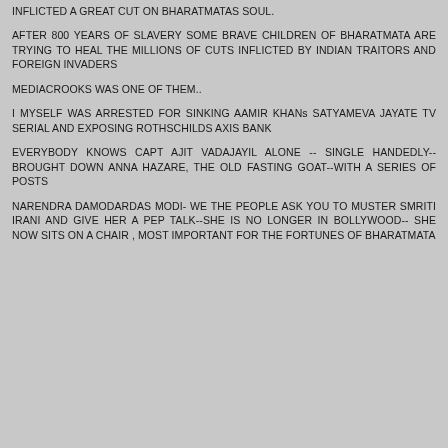INFLICTED A GREAT CUT ON BHARATMATAS SOUL.
AFTER 800 YEARS OF SLAVERY SOME BRAVE CHILDREN OF BHARATMATA ARE TRYING TO HEAL THE MILLIONS OF CUTS INFLICTED BY INDIAN TRAITORS AND FOREIGN INVADERS
MEDIACROOKS WAS ONE OF THEM..
I MYSELF WAS ARRESTED FOR SINKING AAMIR KHANs SATYAMEVA JAYATE TV SERIAL AND EXPOSING ROTHSCHILDS AXIS BANK
EVERYBODY KNOWS CAPT AJIT VADAJAYIL ALONE -- SINGLE HANDEDLY-- BROUGHT DOWN ANNA HAZARE, THE OLD FASTING GOAT--WITH A SERIES OF POSTS
NARENDRA DAMODARDAS MODI- WE THE PEOPLE ASK YOU TO MUSTER SMRITI IRANI AND GIVE HER A PEP TALK--SHE IS NO LONGER IN BOLLYWOOD-- SHE NOW SITS ON A CHAIR , MOST IMPORTANT FOR THE FORTUNES OF BHARATMATA